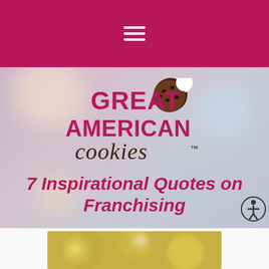Navigation bar with hamburger menu
[Figure (logo): Great American Cookies logo with cookie icon and stylized text]
7 Inspirational Quotes on Franchising
[Figure (photo): Blurred bokeh photo at bottom of page showing warm golden tones]